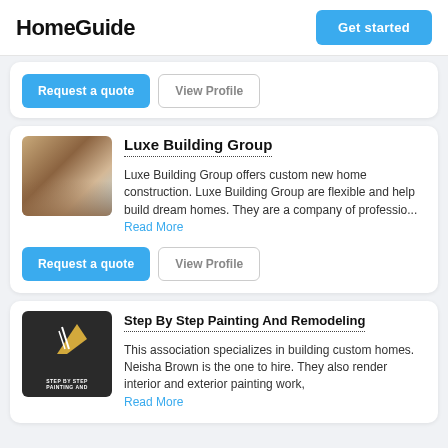HomeGuide | Get started
Request a quote | View Profile (partial card)
Luxe Building Group
Luxe Building Group offers custom new home construction. Luxe Building Group are flexible and help build dream homes. They are a company of professio... Read More
Request a quote | View Profile
Step By Step Painting And Remodeling
This association specializes in building custom homes. Neisha Brown is the one to hire. They also render interior and exterior painting work, Read More